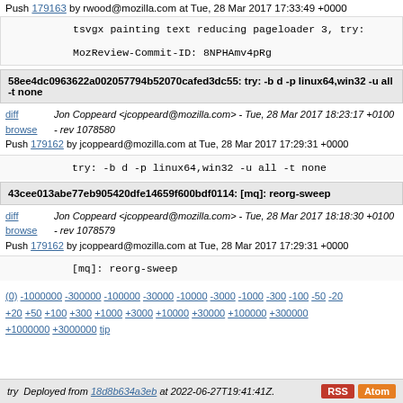Push 179163 by rwood@mozilla.com at Tue, 28 Mar 2017 17:33:49 +0000
tsvgx painting text reducing pageloader 3, try:

MozReview-Commit-ID: 8NPHAmv4pRg
58ee4dc0963622a002057794b52070cafed3dc55: try: -b d -p linux64,win32 -u all -t none
diff browse
Jon Coppeard <jcoppeard@mozilla.com> - Tue, 28 Mar 2017 18:23:17 +0100 - rev 1078580
Push 179162 by jcoppeard@mozilla.com at Tue, 28 Mar 2017 17:29:31 +0000
try: -b d -p linux64,win32 -u all -t none
43cee013abe77eb905420dfe14659f600bdf0114: [mq]: reorg-sweep
diff browse
Jon Coppeard <jcoppeard@mozilla.com> - Tue, 28 Mar 2017 18:18:30 +0100 - rev 1078579
Push 179162 by jcoppeard@mozilla.com at Tue, 28 Mar 2017 17:29:31 +0000
[mq]: reorg-sweep
(0) -1000000 -300000 -100000 -30000 -10000 -3000 -1000 -300 -100 -50 -20 +20 +50 +100 +300 +1000 +3000 +10000 +30000 +100000 +300000 +1000000 +3000000 tip
try  Deployed from 18d8b634a3eb at 2022-06-27T19:41:41Z.  RSS  Atom